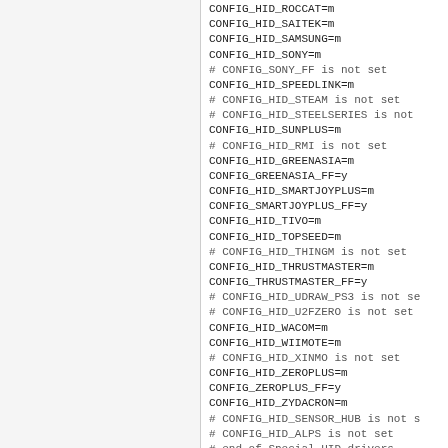CONFIG_HID_ROCCAT=m
CONFIG_HID_SAITEK=m
CONFIG_HID_SAMSUNG=m
CONFIG_HID_SONY=m
# CONFIG_SONY_FF is not set
CONFIG_HID_SPEEDLINK=m
# CONFIG_HID_STEAM is not set
# CONFIG_HID_STEELSERIES is not
CONFIG_HID_SUNPLUS=m
# CONFIG_HID_RMI is not set
CONFIG_HID_GREENASIA=m
CONFIG_GREENASIA_FF=y
CONFIG_HID_SMARTJOYPLUS=m
CONFIG_SMARTJOYPLUS_FF=y
CONFIG_HID_TIVO=m
CONFIG_HID_TOPSEED=m
# CONFIG_HID_THINGM is not set
CONFIG_HID_THRUSTMASTER=m
CONFIG_THRUSTMASTER_FF=y
# CONFIG_HID_UDRAW_PS3 is not se
# CONFIG_HID_U2FZERO is not set
CONFIG_HID_WACOM=m
CONFIG_HID_WIIMOTE=m
# CONFIG_HID_XINMO is not set
CONFIG_HID_ZEROPLUS=m
CONFIG_ZEROPLUS_FF=y
CONFIG_HID_ZYDACRON=m
# CONFIG_HID_SENSOR_HUB is not s
# CONFIG_HID_ALPS is not set
# end of Special HID drivers

#
# HID_HID...